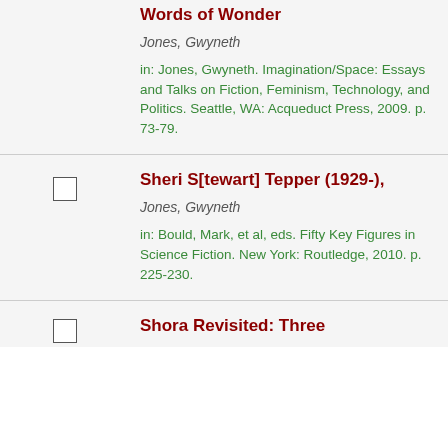Words of Wonder
Jones, Gwyneth
in: Jones, Gwyneth. Imagination/Space: Essays and Talks on Fiction, Feminism, Technology, and Politics. Seattle, WA: Acqueduct Press, 2009. p. 73-79.
Sheri S[tewart] Tepper (1929-),
Jones, Gwyneth
in: Bould, Mark, et al, eds. Fifty Key Figures in Science Fiction. New York: Routledge, 2010. p. 225-230.
Shora Revisited: Three